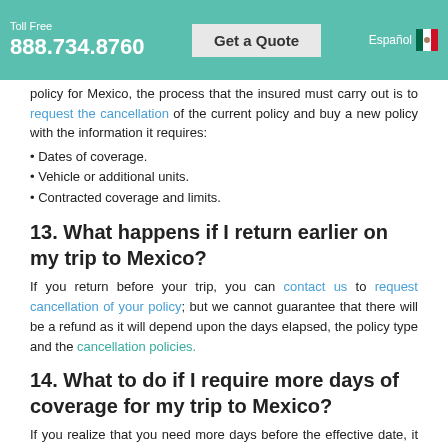Toll Free 888.734.8760 | Get a Quote | Español
policy for Mexico, the process that the insured must carry out is to request the cancellation of the current policy and buy a new policy with the information it requires:
Dates of coverage.
Vehicle or additional units.
Contracted coverage and limits.
13. What happens if I return earlier on my trip to Mexico?
If you return before your trip, you can contact us to request cancellation of your policy; but we cannot guarantee that there will be a refund as it will depend upon the days elapsed, the policy type and the cancellation policies.
14. What to do if I require more days of coverage for my trip to Mexico?
If you realize that you need more days before the effective date, it is better to request the cancellation of your policy and buy a new one with the data required. If you require more days of coverage after the effective date of your policy, simply purchase a new tourist car policy or renew the current policy, which is very easy by following the steps in the next question.
15. How do I renew my Mexican car insurance policy?